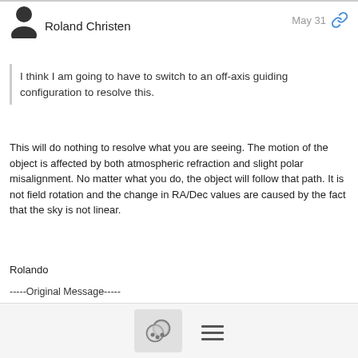Roland Christen   May 31
I think I am going to have to switch to an off-axis guiding configuration to resolve this.
This will do nothing to resolve what you are seeing. The motion of the object is affected by both atmospheric refraction and slight polar misalignment. No matter what you do, the object will follow that path. It is not field rotation and the change in RA/Dec values are caused by the fact that the sky is not linear.
Rolando
-----Original Message-----
From: M Hambrick <mhambrick563@...>
To: main@ap-gto.groups.io
Sent: Mon, May 30, 2022 9:11 am
Subject: Re: [ap-gto] Field Rotation
Hi Ray and Hy,